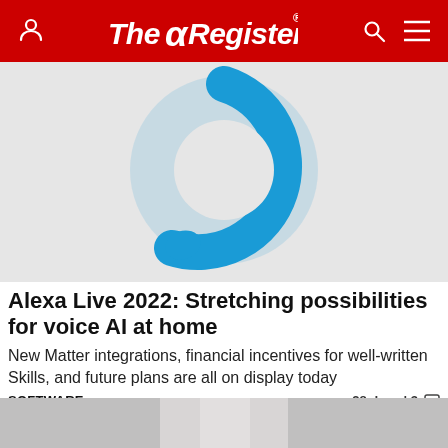The Register
[Figure (illustration): Amazon Alexa logo - a blue circular ring shape with a small opening at the bottom right, on a light grey background]
Alexa Live 2022: Stretching possibilities for voice AI at home
New Matter integrations, financial incentives for well-written Skills, and future plans are all on display today
SOFTWARE   28 days | 3
[Figure (photo): Partial photo of a person at the bottom of the page, cut off]